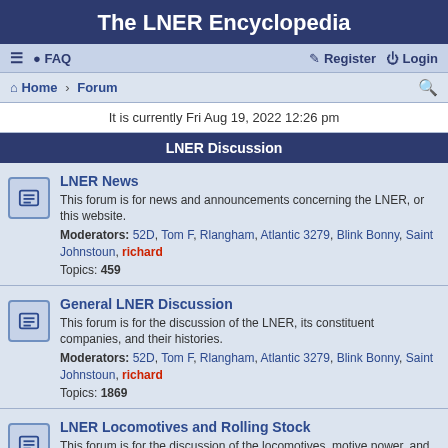The LNER Encyclopedia
≡  FAQ    Register  Login
Home · Forum
It is currently Fri Aug 19, 2022 12:26 pm
LNER Discussion
LNER News
This forum is for news and announcements concerning the LNER, or this website.
Moderators: 52D, Tom F, Rlangham, Atlantic 3279, Blink Bonny, Saint Johnstoun, richard
Topics: 459
General LNER Discussion
This forum is for the discussion of the LNER, its constituent companies, and their histories.
Moderators: 52D, Tom F, Rlangham, Atlantic 3279, Blink Bonny, Saint Johnstoun, richard
Topics: 1869
LNER Locomotives and Rolling Stock
This forum is for the discussion of the locomotives, motive power, and rolling stock of the LNER and its constituent companies.
Moderators: 52D, Tom F, Rlangham, Atlantic 3279, Blink Bonny, Saint Johnstoun, richard
Topics: 2197
LNER Infrastructure